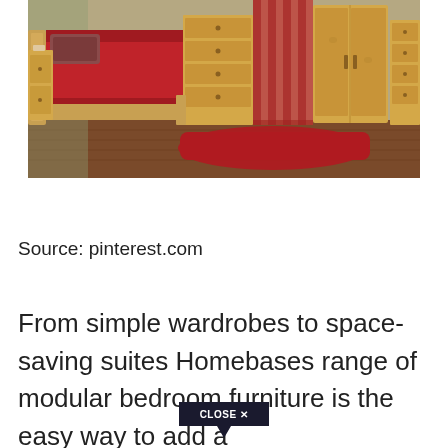[Figure (photo): Bedroom furniture display showing a wooden bed with red bedding, chest of drawers, tall wardrobe, and bedside cabinet. Red rug on hardwood floor. Natural oak/pine finish furniture.]
Source: pinterest.com
From simple wardrobes to space-saving suites Homebases range of modular bedroom furniture is the easy way to add a